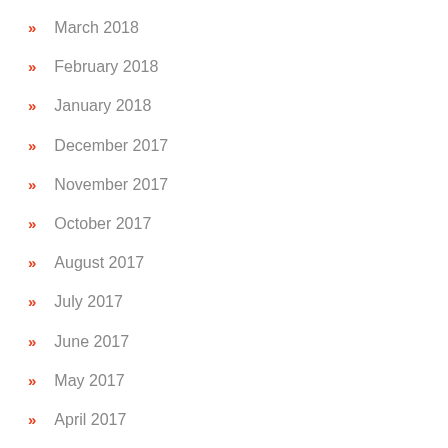March 2018
February 2018
January 2018
December 2017
November 2017
October 2017
August 2017
July 2017
June 2017
May 2017
April 2017